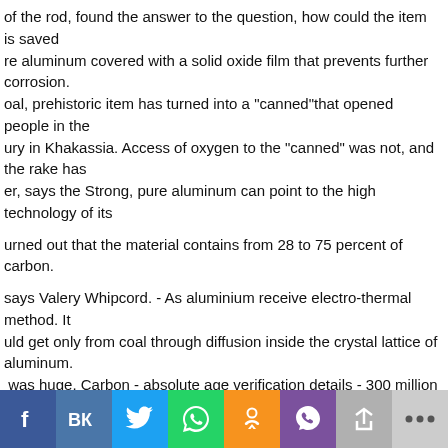of the rod, found the answer to the question, how could the item is saved re aluminum covered with a solid oxide film that prevents further corrosion. oal, prehistoric item has turned into a "canned"that opened people in the ury in Khakassia. Access of oxygen to the "canned" was not, and the rake has er, says the Strong, pure aluminum can point to the high technology of its
urned out that the material contains from 28 to 75 percent of carbon.
says Valery Whipcord. - As aluminium receive electro-thermal method. It uld get only from coal through diffusion inside the crystal lattice of aluminum. was huge. Carbon - absolute age verification details - 300 million years.
rbon is a very strange fact - supports colleague, senior research fellow, St. nuclear physics Igor Okunev. Because aluminum has an incredibly chemically ce section of the air - metal. It is strange that rake like the element of cog h due to the softness and high smachivayasi aluminium be used in this way
scientist continues, " and if our earth, this aluminum? As far as we know s extraterrestrial aluminium-26, which decays into magnesium-26. No space n Primorsko Nakhodka?
[Figure (infographic): Social media sharing bar with icons: Facebook (blue), VK (blue), Twitter (light blue), WhatsApp (green), Odnoklassniki (orange), Viber (purple), arrow/share (gray), more options (light gray)]